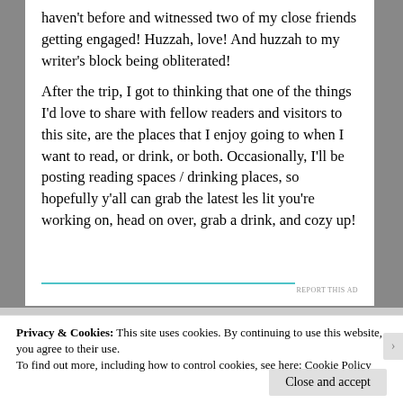haven't before and witnessed two of my close friends getting engaged! Huzzah, love! And huzzah to my writer's block being obliterated!
After the trip, I got to thinking that one of the things I'd love to share with fellow readers and visitors to this site, are the places that I enjoy going to when I want to read, or drink, or both. Occasionally, I'll be posting reading spaces / drinking places, so hopefully y'all can grab the latest les lit you're working on, head on over, grab a drink, and cozy up!
REPORT THIS AD
Privacy & Cookies: This site uses cookies. By continuing to use this website, you agree to their use.
To find out more, including how to control cookies, see here: Cookie Policy
Close and accept